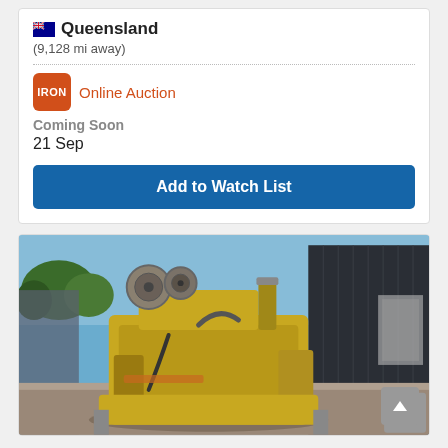Queensland
(9,128 mi away)
Online Auction
Coming Soon
21 Sep
Add to Watch List
[Figure (photo): Yellow diesel/industrial engine outdoors in front of a dark corrugated metal building, sitting on gravel ground.]